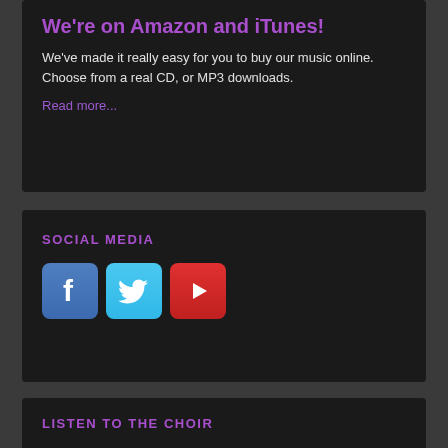We're on Amazon and iTunes!
We've made it really easy for you to buy our music online. Choose from a real CD, or MP3 downloads.
Read more...
SOCIAL MEDIA
[Figure (illustration): Social media icons: Facebook (blue with 'f' logo), Twitter (cyan with bird logo), YouTube (red with play button)]
LISTEN TO THE CHOIR